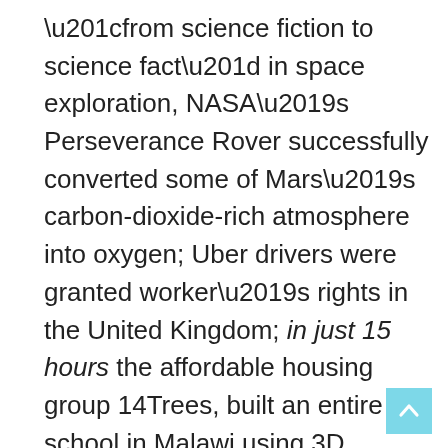“from science fiction to science fact” in space exploration, NASA’s Perseverance Rover successfully converted some of Mars’s carbon-dioxide-rich atmosphere into oxygen; Uber drivers were granted worker’s rights in the United Kingdom; in just 15 hours the affordable housing group 14Trees, built an entire school in Malawi using 3D printing technology; in December, the International Energy Agency (IEA) revealed that 2021 was renewable energy’s biggest year ever, with roughly 290 GW of renewable energy generation installed globally; and, there may even be a way to halt